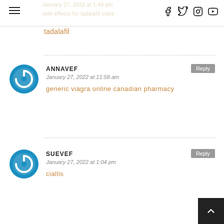side effects for tadalafil cialis | tadalafil
tadalafil
ANNAVEF — January 27, 2022 at 11:58 am — generic viagra online canadian pharmacy
SUEVEF — January 27, 2022 at 1:04 pm — ciallis